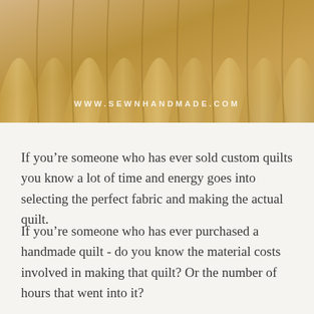[Figure (photo): Close-up photograph of folded tan/beige fabric or quilt material with ridged folds, with watermark text WWW.SEWNHANDMADE.COM overlaid in white]
If you’re someone who has ever sold custom quilts you know a lot of time and energy goes into selecting the perfect fabric and making the actual quilt.
If you’re someone who has ever purchased a handmade quilt - do you know the material costs involved in making that quilt? Or the number of hours that went into it?